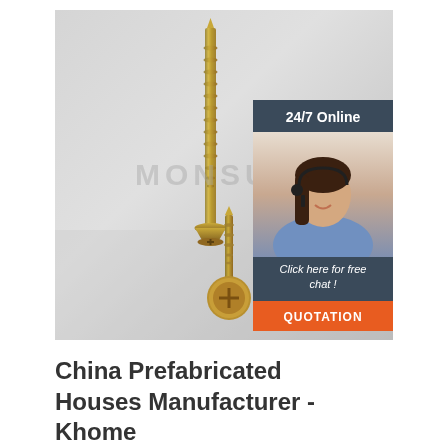[Figure (photo): Product photo of two gold/brass-colored drywall screws on a light gray surface, with a watermark reading MONSUN. One screw is standing upright showing full length, the other is lying flat showing the head. Overlaid in the top-right is a customer service chat widget with '24/7 Online' heading, a photo of a female agent wearing a headset, text 'Click here for free chat!' and an orange QUOTATION button.]
China Prefabricated Houses Manufacturer - Khome